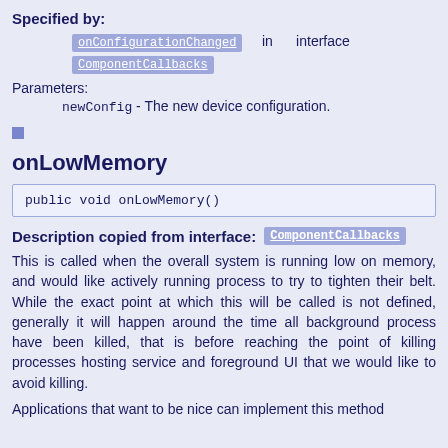Specified by:
onConfigurationChanged in interface ComponentCallbacks
Parameters:
newConfig - The new device configuration.
onLowMemory
public void onLowMemory()
Description copied from interface: ComponentCallbacks
This is called when the overall system is running low on memory, and would like actively running process to try to tighten their belt. While the exact point at which this will be called is not defined, generally it will happen around the time all background process have been killed, that is before reaching the point of killing processes hosting service and foreground UI that we would like to avoid killing.
Applications that want to be nice can implement this method